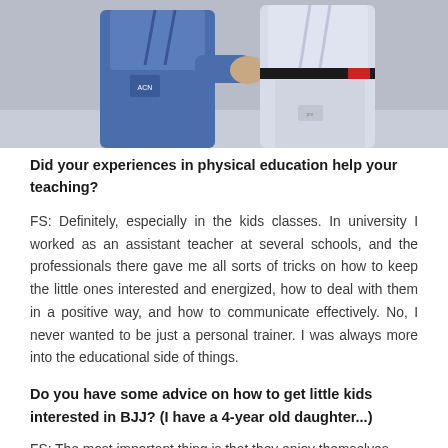[Figure (photo): Two martial artists in gi uniforms — one in blue and one in white — appearing to practice Brazilian Jiu-Jitsu. The person in white has a black belt visible.]
Did your experiences in physical education help your teaching?
FS: Definitely, especially in the kids classes. In university I worked as an assistant teacher at several schools, and the professionals there gave me all sorts of tricks on how to keep the little ones interested and energized, how to deal with them in a positive way, and how to communicate effectively. No, I never wanted to be just a personal trainer. I was always more into the educational side of things.
Do you have some advice on how to get little kids interested in BJJ? (I have a 4-year old daughter...)
FS: The most important thing is that they enjoy themselves.